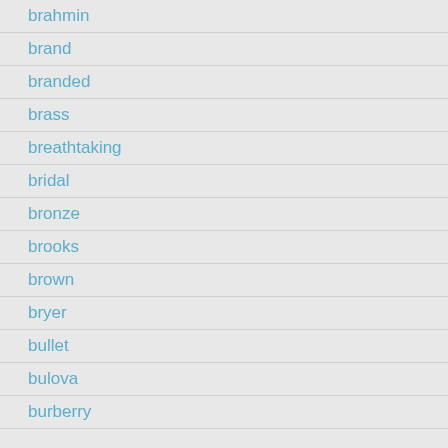brahmin
brand
branded
brass
breathtaking
bridal
bronze
brooks
brown
bryer
bullet
bulova
burberry